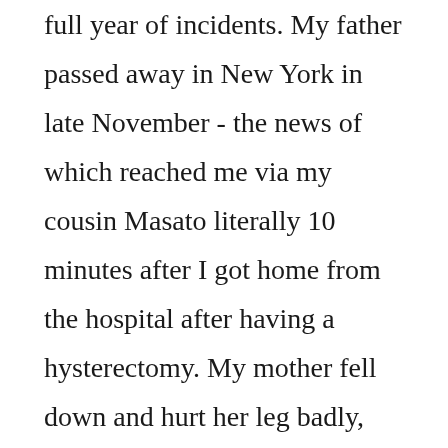full year of incidents. My father passed away in New York in late November - the news of which reached me via my cousin Masato literally 10 minutes after I got home from the hospital after having a hysterectomy. My mother fell down and hurt her leg badly, and was unable to walk for weeks. Our house is still undergoing major renovation, which had to stop for a while due to